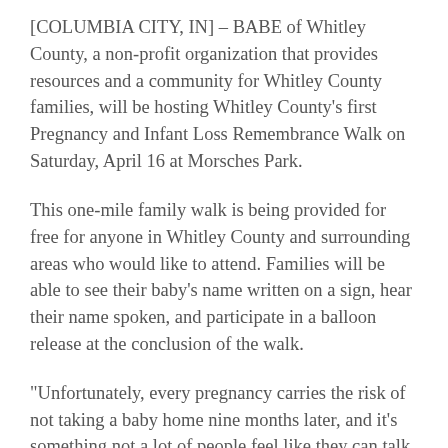[COLUMBIA CITY, IN] – BABE of Whitley County, a non-profit organization that provides resources and a community for Whitley County families, will be hosting Whitley County's first Pregnancy and Infant Loss Remembrance Walk on Saturday, April 16 at Morsches Park.
This one-mile family walk is being provided for free for anyone in Whitley County and surrounding areas who would like to attend. Families will be able to see their baby's name written on a sign, hear their name spoken, and participate in a balloon release at the conclusion of the walk.
“Unfortunately, every pregnancy carries the risk of not taking a baby home nine months later, and it’s something not a lot of people feel like they can talk about,” says Laura Tucker, Executive Director of BABE. She continued, “We’ve created this walk to help bring awareness to pregnancy and infant loss and to hopefully provide some space for grieving and